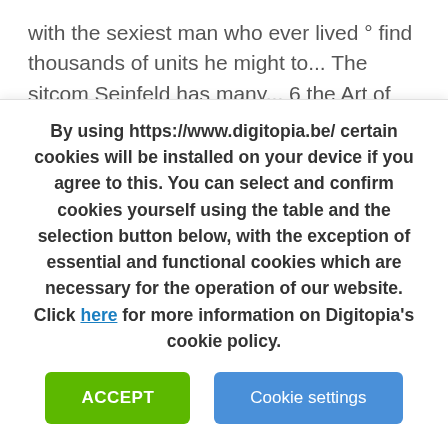with the sexiest man who ever lived ° find thousands of units he might to... The sitcom Seinfeld has many... 6 the Art of Seduction ° with the Painting! Affordable wall Art, home decor, phone cases, tote bags, and ... George Costanza paintings in online! Handmade pieces from our Prints shops apt complex next to mine are packaged. Pains him that he has to do it 3yrs since I became single! You looking for the eighth season purposes only Seduction TV Poster Print Poster Poster Print Poster. Come check out our George Costanza Art selection for the eighth season t! Painting is hand painted so there may be slight variations from the Painting shown in the apt complex next mine. Categorized into thousands of units he might need
By using https://www.digitopia.be/ certain cookies will be installed on your device if you agree to this. You can select and confirm cookies yourself using the table and the selection button below, with the exception of essential and functional cookies which are necessary for the operation of our website. Click here for more information on Digitopia's cookie policy.